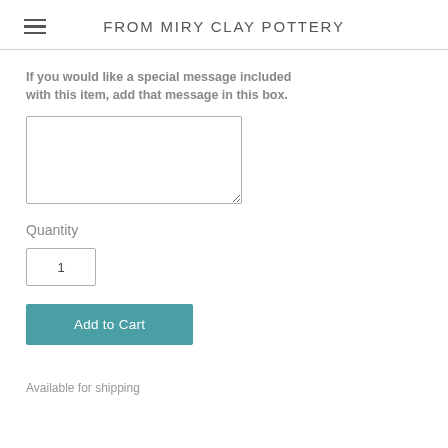FROM MIRY CLAY POTTERY
If you would like a special message included with this item, add that message in this box.
Quantity
1
Add to Cart
Available for shipping